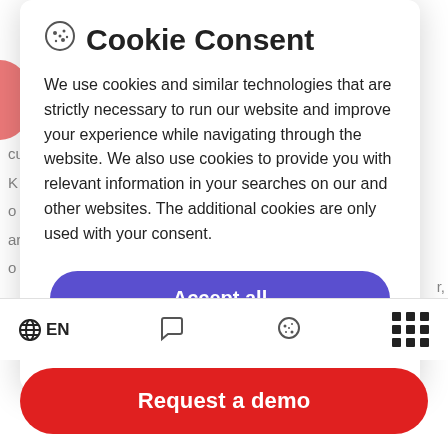Cookie Consent
We use cookies and similar technologies that are strictly necessary to run our website and improve your experience while navigating through the website. We also use cookies to provide you with relevant information in your searches on our and other websites. The additional cookies are only used with your consent.
Accept all
Customize
EN | [chat icon] | [cookie icon] | [grid icon]
Request a demo